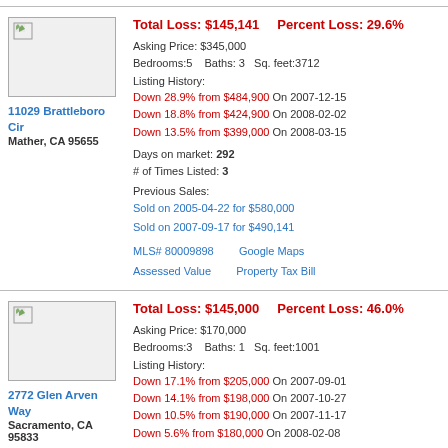Total Loss: $145,141    Percent Loss: 29.6%
Asking Price: $345,000
Bedrooms:5    Baths: 3    Sq. feet:3712
Listing History: Down 28.9% from $484,900 On 2007-12-15 Down 18.8% from $424,900 On 2008-02-02 Down 13.5% from $399,000 On 2008-03-15
Days on market: 292
# of Times Listed: 3
Previous Sales:
Sold on 2005-04-22 for $580,000
Sold on 2007-09-17 for $490,141
MLS# 80009898    Google Maps
Assessed Value    Property Tax Bill
11029 Brattleboro Cir
Mather, CA 95655
Total Loss: $145,000    Percent Loss: 46.0%
Asking Price: $170,000
Bedrooms:3    Baths: 1    Sq. feet:1001
Listing History: Down 17.1% from $205,000 On 2007-09-01 Down 14.1% from $198,000 On 2007-10-27 Down 10.5% from $190,000 On 2007-11-17 Down 5.6% from $180,000 On 2008-02-08
2772 Glen Arven Way
Sacramento, CA 95833